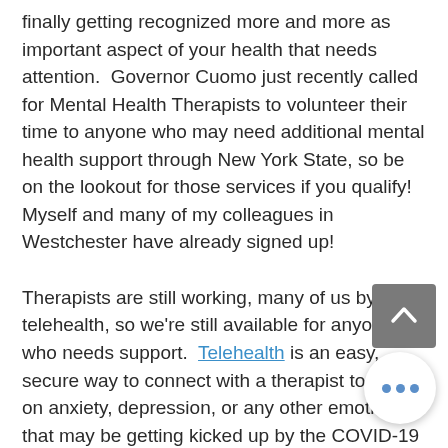finally getting recognized more and more as important aspect of your health that needs attention.  Governor Cuomo just recently called for Mental Health Therapists to volunteer their time to anyone who may need additional mental health support through New York State, so be on the lookout for those services if you qualify! Myself and many of my colleagues in Westchester have already signed up!
Therapists are still working, many of us by telehealth, so we're still available for anyone who needs support.  Telehealth is an easy, secure way to connect with a therapist to work on anxiety, depression, or any other emotion that may be getting kicked up by the COVID-19 outbreak.